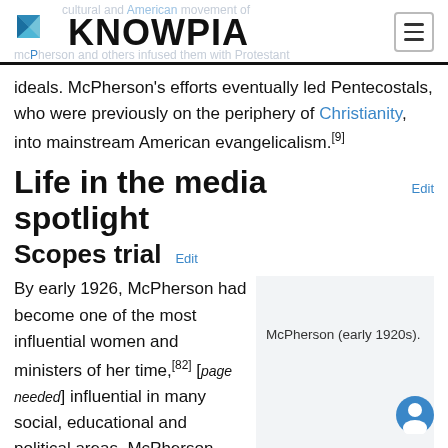KNOWPIA
ideals. McPherson's efforts eventually led Pentecostals, who were previously on the periphery of Christianity, into mainstream American evangelicalism.[9]
Life in the media spotlight  Edit
Scopes trial  Edit
By early 1926, McPherson had become one of the most influential women and ministers of her time,[82] [page needed] influential in many social, educational and political areas. McPherson crusaded against Darwinian evolution and
McPherson (early 1920s).